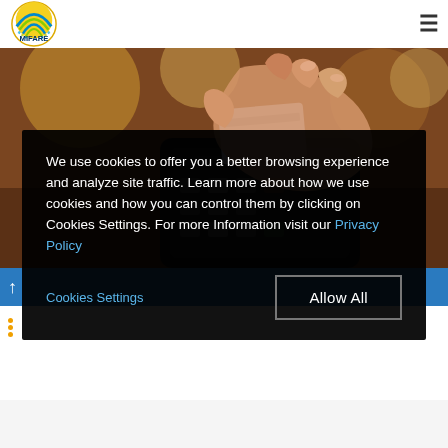[Figure (logo): MIFARE logo — circular blue/yellow/green radio-wave design with MIFARE text]
[Figure (photo): Close-up photo of a hand holding a card over a payment terminal/card reader on a counter]
We use cookies to offer you a better browsing experience and analyze site traffic. Learn more about how we use cookies and how you can control them by clicking on Cookies Settings. For more Information visit our Privacy Policy
Cookies Settings
Allow All